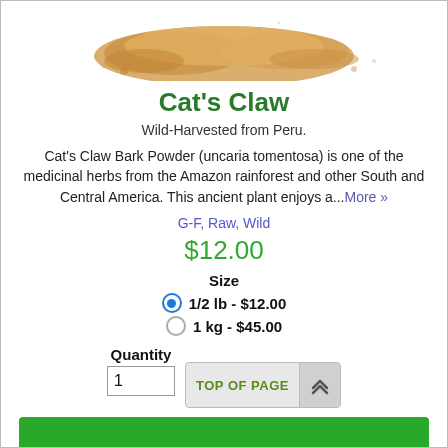[Figure (photo): Loose golden-tan powder (Cat's Claw bark powder) scattered on white background]
Cat's Claw
Wild-Harvested from Peru.
Cat's Claw Bark Powder (uncaria tomentosa) is one of the medicinal herbs from the Amazon rainforest and other South and Central America. This ancient plant enjoys a...More »
G-F, Raw, Wild
$12.00
Size
1/2 lb - $12.00
1 kg - $45.00
Quantity
1
TOP OF PAGE